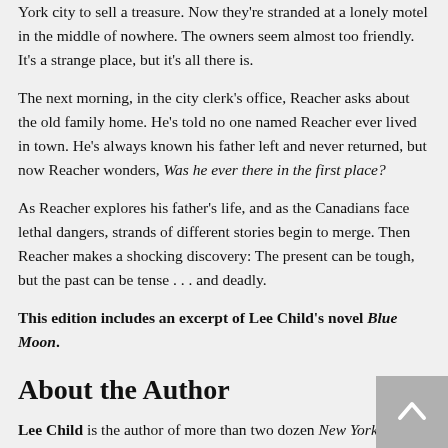York city to sell a treasure. Now they're stranded at a lonely motel in the middle of nowhere. The owners seem almost too friendly. It's a strange place, but it's all there is.
The next morning, in the city clerk's office, Reacher asks about the old family home. He's told no one named Reacher ever lived in town. He's always known his father left and never returned, but now Reacher wonders, Was he ever there in the first place?
As Reacher explores his father's life, and as the Canadians face lethal dangers, strands of different stories begin to merge. Then Reacher makes a shocking discovery: The present can be tough, but the past can be tense . . . and deadly.
This edition includes an excerpt of Lee Child's novel Blue Moon.
About the Author
Lee Child is the author of more than two dozen New York Times